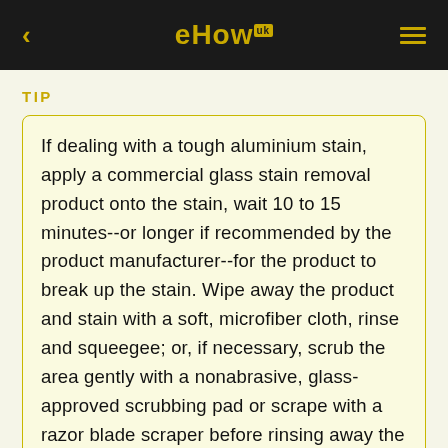eHow
TIP
If dealing with a tough aluminium stain, apply a commercial glass stain removal product onto the stain, wait 10 to 15 minutes--or longer if recommended by the product manufacturer--for the product to break up the stain. Wipe away the product and stain with a soft, microfiber cloth, rinse and squeegee; or, if necessary, scrub the area gently with a nonabrasive, glass-approved scrubbing pad or scrape with a razor blade scraper before rinsing away the product and removing the excess